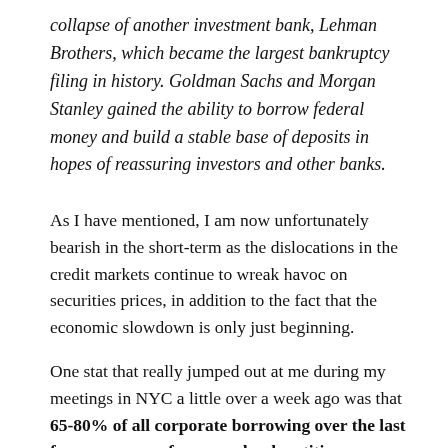collapse of another investment bank, Lehman Brothers, which became the largest bankruptcy filing in history. Goldman Sachs and Morgan Stanley gained the ability to borrow federal money and build a stable base of deposits in hopes of reassuring investors and other banks.
As I have mentioned, I am now unfortunately bearish in the short-term as the dislocations in the credit markets continue to wreak havoc on securities prices, in addition to the fact that the economic slowdown is only just beginning.
One stat that really jumped out at me during my meetings in NYC a little over a week ago was that 65-80% of all corporate borrowing over the last few years came from non-bank entities.
Granted, many of these entities were SIV's which had the